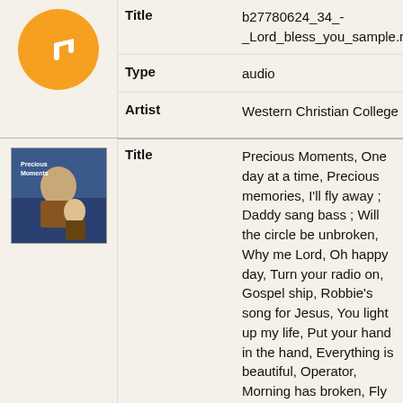[Figure (illustration): Orange circular music icon with white music note symbol]
| Title | b27780624_34_-_Lord_bless_you_sample.mp3 |
| Type | audio |
| Artist | Western Christian College |
[Figure (photo): Album cover thumbnail for Precious Moments showing a person with a child]
| Title | Precious Moments, One day at a time, Precious memories, I'll fly away ; Daddy sang bass ; Will the circle be unbroken, Why me Lord, Oh happy day, Turn your radio on, Gospel ship, Robbie's song for Jesus, You light up my life, Put your hand in the hand, Everything is beautiful, Operator, Morning has broken, Fly little white dove, Get together, Jubilation, 23rd psalm, What a friend we have in Jesus, Just a closer walk/Let it be, How great thou art, Swing low sweet chariot, Amazing grace |